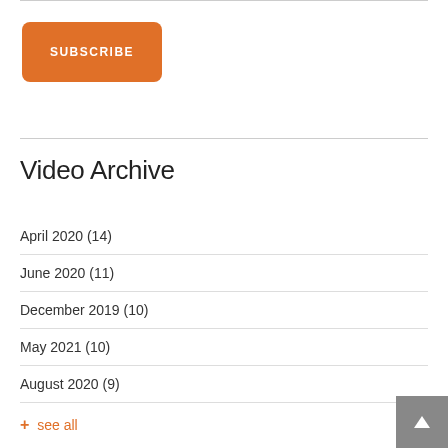[Figure (other): Orange SUBSCRIBE button with rounded corners and white bold uppercase text]
Video Archive
April 2020 (14)
June 2020 (11)
December 2019 (10)
May 2021 (10)
August 2020 (9)
+ see all